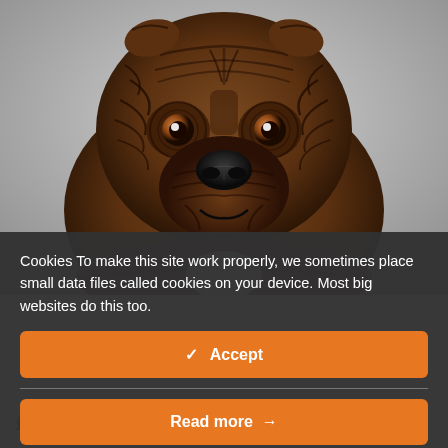[Figure (photo): Front-facing close-up of a textured sculptural dog bust (Staffordshire Bull Terrier style) made of dark brown carved or molded material with deeply ridged, organic surface textures. The background is light gray. The sculpture shows detailed wrinkles and layered petal-like textures across the face and body.]
Cookies To make this site work properly, we sometimes place small data files called cookies on your device. Most big websites do this too.
✓  Accept
Read more  →
£205.00